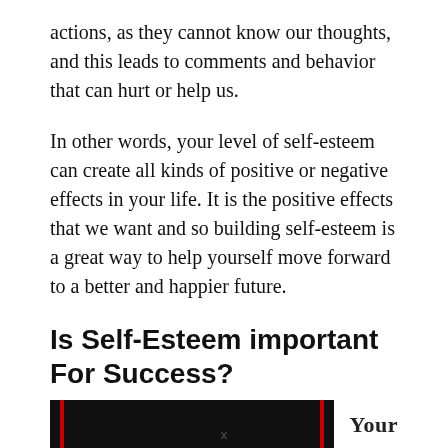actions, as they cannot know our thoughts, and this leads to comments and behavior that can hurt or help us.
In other words, your level of self-esteem can create all kinds of positive or negative effects in your life. It is the positive effects that we want and so building self-esteem is a great way to help yourself move forward to a better and happier future.
Is Self-Esteem important For Success?
[Figure (other): A black rectangular banner with two thin red vertical bars (one near the left edge, one near the right edge), followed by the word 'Your' in bold to the right.]